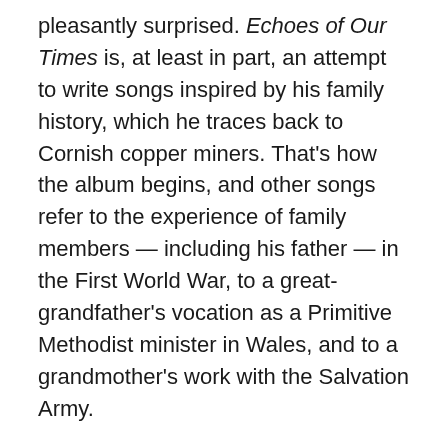pleasantly surprised. Echoes of Our Times is, at least in part, an attempt to write songs inspired by his family history, which he traces back to Cornish copper miners. That's how the album begins, and other songs refer to the experience of family members — including his father — in the First World War, to a great-grandfather's vocation as a Primitive Methodist minister in Wales, and to a grandmother's work with the Salvation Army.
It's as if, back at the very start of his career, he'd heard Music from Big Pink and decided to take that route. An excellent band features banjos and harmonicas and mandolins and a harmonium and a general feeling of handmade quality, occasionally broadening to include a small horn section and a cello. Shaky sings very well, with great conviction. Time has abraded his tone a little, which is no bad thing; curiously, on different songs he reminded